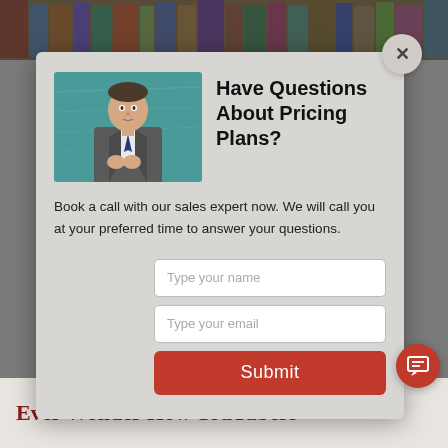[Figure (screenshot): A popup modal dialog on a webpage. The modal has a light gray background and contains a photo of a man in a business suit with a teal/chalkboard background on the left, and text with a contact form on the right. The background shows a bookshelf at the top and website content at the bottom.]
Have Questions About Pricing Plans?
Book a call with our sales expert now. We will call you at your preferred time to answer your questions.
Type your name
Type your email
Submit
Ever Wonder How YouTubers